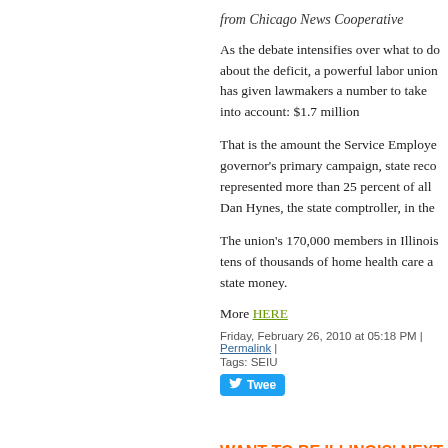from Chicago News Cooperative
As the debate intensifies over what to do about the deficit, a powerful labor union has given lawmakers a number to take into account: $1.7 million
That is the amount the Service Employees... governor's primary campaign, state records show. It represented more than 25 percent of all ... Dan Hynes, the state comptroller, in the ...
The union's 170,000 members in Illinois include tens of thousands of home health care a... state money.
More HERE
Friday, February 26, 2010 at 05:18 PM | Permalink |
Tags: SEIU
WANT TO BE ILLINOIS' NEXT L...
The Democrat Party of Illinois says...app
Friday, February 26, 2010 at 04:31 PM | Permalink |